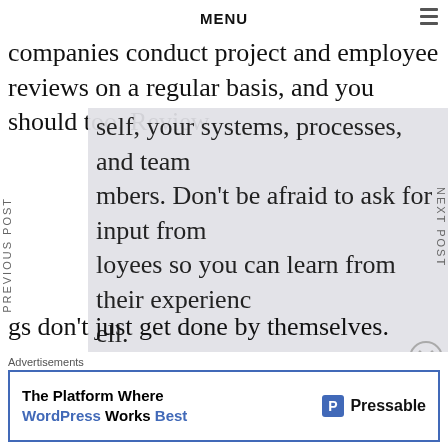MENU
companies conduct project and employee reviews on a regular basis, and you should too. Review self, your systems, processes, and team mbers. Don't be afraid to ask for input from loyees so you can learn from their experienc ell.
gs don't just get done by themselves. Simply g day to day may work when you first launch business, but it's not a sustainable or efficient way to run a company. You need to take the time to plan
Advertisements
The Platform Where WordPress Works Best  Pressable